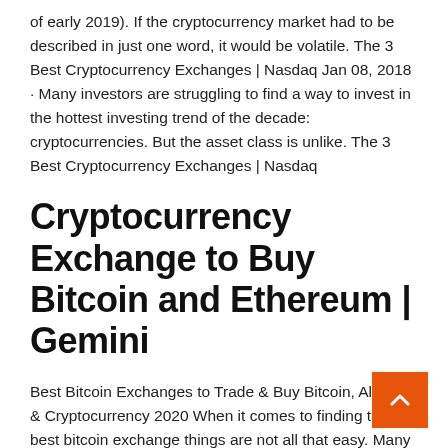of early 2019). If the cryptocurrency market had to be described in just one word, it would be volatile. The 3 Best Cryptocurrency Exchanges | Nasdaq Jan 08, 2018 · Many investors are struggling to find a way to invest in the hottest investing trend of the decade: cryptocurrencies. But the asset class is unlike. The 3 Best Cryptocurrency Exchanges | Nasdaq
Cryptocurrency Exchange to Buy Bitcoin and Ethereum | Gemini
Best Bitcoin Exchanges to Trade & Buy Bitcoin, Altcoins & Cryptocurrency 2020 When it comes to finding the best bitcoin exchange things are not all that easy. Many of the best bitcoin exchanges to buy bitcoin are only recently online. The 7 Best Cryptocurrency Exchanges in 2018 - TheStreet Nov 27, 201 cryptocurrency exchange is an exchange that allows inve to buy, sell and trade various cryptocurrencies often bought